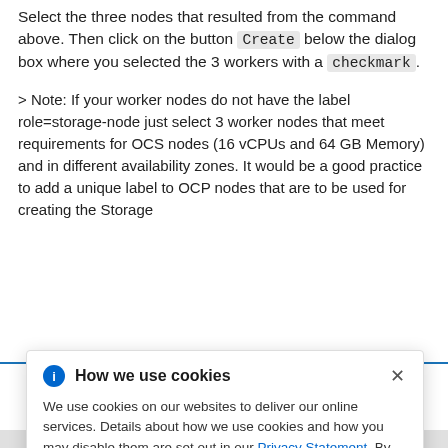Select the three nodes that resulted from the command above. Then click on the button Create below the dialog box where you selected the 3 workers with a checkmark.
> Note: If your worker nodes do not have the label role=storage-node just select 3 worker nodes that meet requirements for OCS nodes (16 vCPUs and 64 GB Memory) and in different availability zones. It would be a good practice to add a unique label to OCP nodes that are to be used for creating the Storage Cluster — to find in list ... adding this ... set YAML ... ew OCS ... a lot of new ... ace, as can
[Figure (screenshot): Cookie consent popup dialog overlay. Header with blue info circle icon, bold text 'How we use cookies', and an X close button. Body text: 'We use cookies on our websites to deliver our online services. Details about how we use cookies and how you may disable them are set out in our Privacy Statement. By using this website you agree to our use of cookies.']